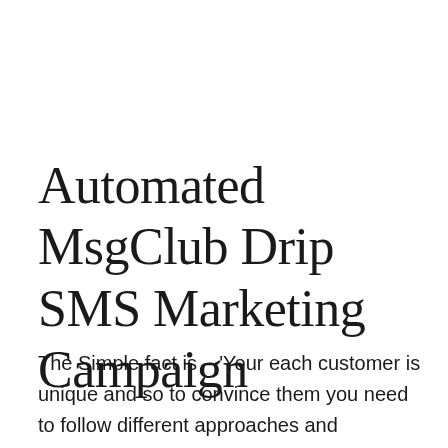Automated MsgClub Drip SMS Marketing Campaign
The Simple fact is – 'Your each customer is unique and so to convince them you need to follow different approaches and techniques.'